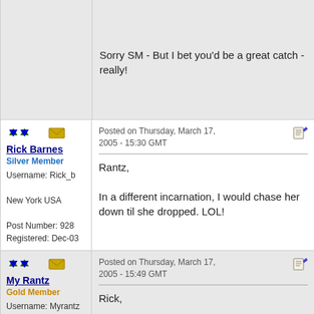Sorry SM - But I bet you'd be a great catch - really!
Posted on Thursday, March 17, 2005 - 15:30 GMT
Rick Barnes
Silver Member
Username: Rick_b
New York USA
Post Number: 928
Registered: Dec-03
Rantz,

In a different incarnation, I would chase her down til she dropped. LOL!
Posted on Thursday, March 17, 2005 - 15:49 GMT
My Rantz
Gold Member
Username: Myrantz
Rick,